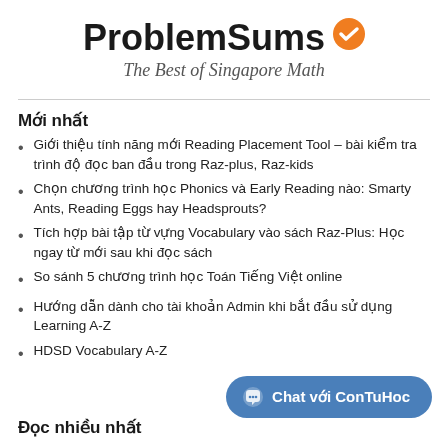[Figure (logo): ProblemSums logo with orange checkmark badge and subtitle 'The Best of Singapore Math']
Mới nhất
Giới thiệu tính năng mới Reading Placement Tool – bài kiểm tra trình độ đọc ban đầu trong Raz-plus, Raz-kids
Chọn chương trình học Phonics và Early Reading nào: Smarty Ants, Reading Eggs hay Headsprouts?
Tích hợp bài tập từ vựng Vocabulary vào sách Raz-Plus: Học ngay từ mới sau khi đọc sách
So sánh 5 chương trình học Toán Tiếng Việt online
Hướng dẫn dành cho tài khoản Admin khi bắt đầu sử dụng Learning A-Z
HDSD Vocabulary A-Z
Chat với ConTuHoc
Đọc nhiều nhất